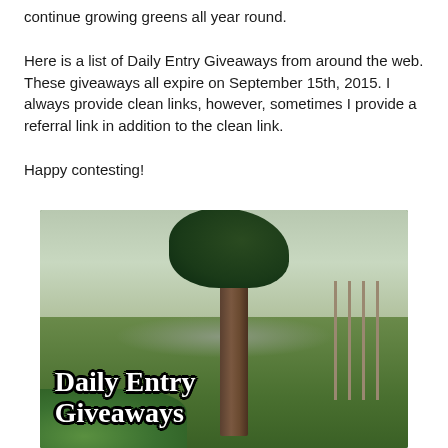continue growing greens all year round.
Here is a list of Daily Entry Giveaways from around the web. These giveaways all expire on September 15th, 2015. I always provide clean links, however, sometimes I provide a referral link in addition to the clean link.
Happy contesting!
[Figure (photo): Outdoor garden scene with a tree, green grass, foggy background, and rocks. Text overlay reads 'Daily Entry Giveaways' in white bubble letters with black outline.]